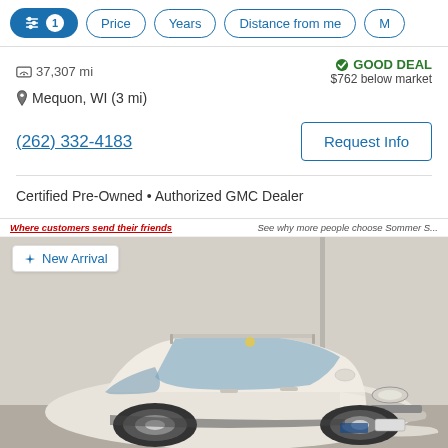Filter controls: [sliders icon] 1 | Price | Years | Distance from me | M...
37,307 mi
GOOD DEAL
$762 below market
Mequon, WI (3 mi)
(262) 332-4183
Request Info
Certified Pre-Owned • Authorized GMC Dealer
Where customers send their friends   See why more people choose Sommer S...
✦ New Arrival
[Figure (photo): White Subaru Outback SUV photographed in a dealership showroom. The vehicle faces slightly left, showing the front and driver's side. The car has a silver roof rack and dark trim.]